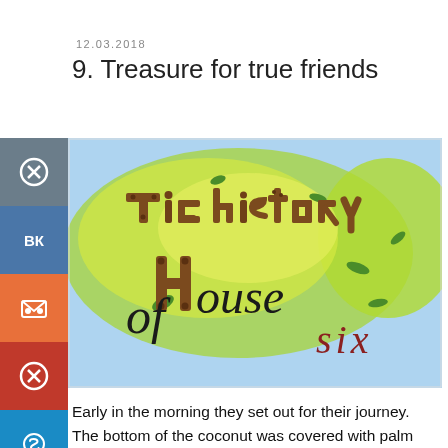12.03.2018
9. Treasure for true friends
[Figure (illustration): Book cover illustration showing 'The history of House six' text rendered in a decorated hand-lettered style with wooden plank letters, surrounded by green watercolor leaves and plants on a yellow-green background.]
Early in the morning they set out for their journey. The bottom of the coconut was covered with palm leaves. They took a supply of drinking water in small seashells